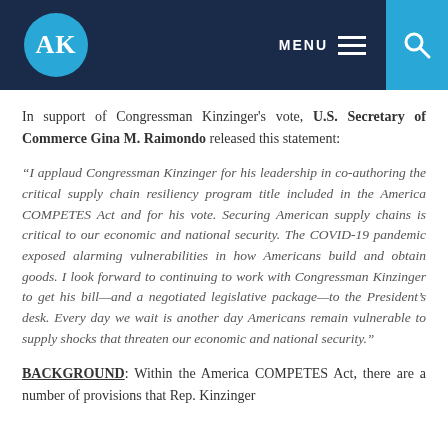AK | MENU | [search icon]
In support of Congressman Kinzinger's vote, U.S. Secretary of Commerce Gina M. Raimondo released this statement:
“I applaud Congressman Kinzinger for his leadership in co-authoring the critical supply chain resiliency program title included in the America COMPETES Act and for his vote. Securing American supply chains is critical to our economic and national security. The COVID–19 pandemic exposed alarming vulnerabilities in how Americans build and obtain goods. I look forward to continuing to work with Congressman Kinzinger to get his bill—and a negotiated legislative package—to the President’s desk. Every day we wait is another day Americans remain vulnerable to supply shocks that threaten our economic and national security.”
BACKGROUND: Within the America COMPETES Act, there are a number of provisions that Rep. Kinzinger